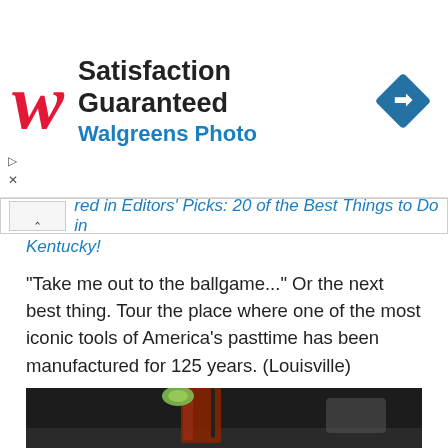[Figure (advertisement): Walgreens Photo advertisement banner with red stylized W logo, text 'Satisfaction Guaranteed' and 'Walgreens Photo', and a blue diamond navigation icon on the right.]
red in Editors' Picks: 20 of the Best Things to Do in Kentucky!
"Take me out to the ballgame..." Or the next best thing. Tour the place where one of the most iconic tools of America's pasttime has been manufactured for 125 years. (Louisville)
Read More
[Figure (photo): Photo of a drink (appears to be a Bloody Mary or similar cocktail) with a straw and lime garnish on a table, dark/blurry background.]